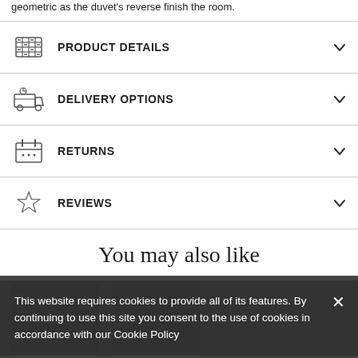geometric as the duvet's reverse finish the room.
PRODUCT DETAILS
DELIVERY OPTIONS
RETURNS
REVIEWS
You may also like
This website requires cookies to provide all of its features. By continuing to use this site you consent to the use of cookies in accordance with our Cookie Policy